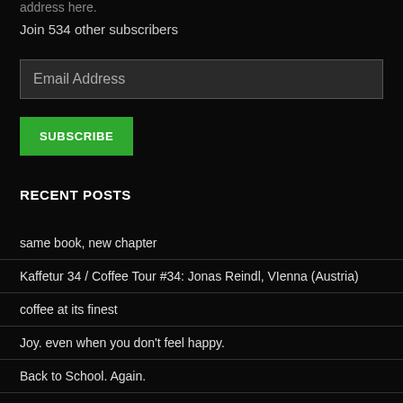address here.
Join 534 other subscribers
Email Address
SUBSCRIBE
RECENT POSTS
same book, new chapter
Kaffetur 34 / Coffee Tour #34: Jonas Reindl, VIenna (Austria)
coffee at its finest
Joy. even when you don't feel happy.
Back to School. Again.